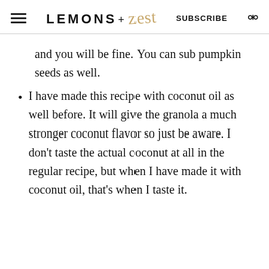LEMONS + zest  SUBSCRIBE
and you will be fine. You can sub pumpkin seeds as well.
I have made this recipe with coconut oil as well before. It will give the granola a much stronger coconut flavor so just be aware. I don't taste the actual coconut at all in the regular recipe, but when I have made it with coconut oil, that's when I taste it.